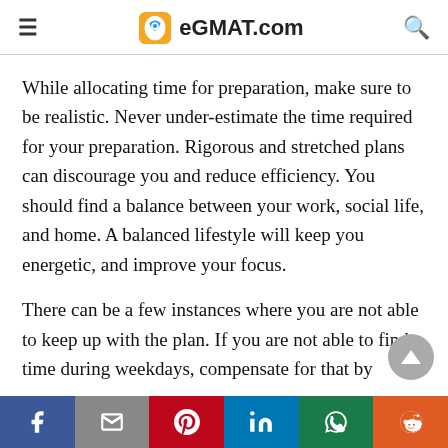eGMAT.com
While allocating time for preparation, make sure to be realistic. Never under-estimate the time required for your preparation. Rigorous and stretched plans can discourage you and reduce efficiency. You should find a balance between your work, social life, and home. A balanced lifestyle will keep you energetic, and improve your focus.
There can be a few instances where you are not able to keep up with the plan. If you are not able to find time during weekdays, compensate for that by
Social share bar: Facebook, Mail, Pinterest, LinkedIn, WhatsApp, Reddit